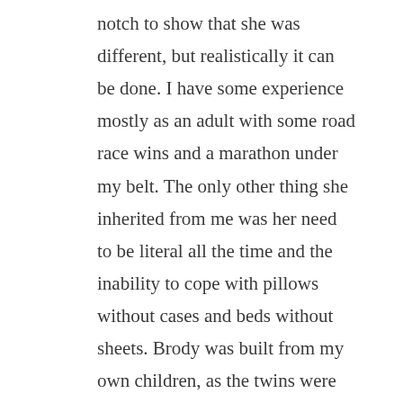notch to show that she was different, but realistically it can be done. I have some experience mostly as an adult with some road race wins and a marathon under my belt. The only other thing she inherited from me was her need to be literal all the time and the inability to cope with pillows without cases and beds without sheets. Brody was built from my own children, as the twins were about that age when I wrote the story. I had never met Jack before, but he was one of the first to introduce himself to me and I stole something from my husband when figuring out who Bentley was. The one true thing about Bentley is that no